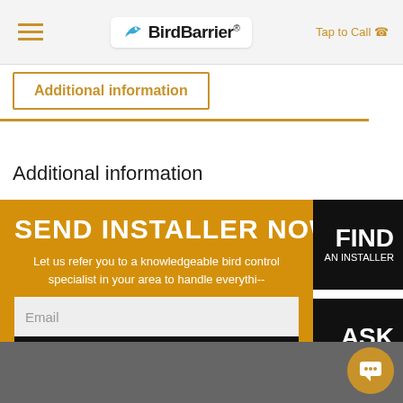BirdBarrier® — Tap to Call
Additional information
Additional information
SEND INSTALLER NOW
Let us refer you to a knowledgeable bird control specialist in your area to handle everything--
FIND AN INSTALLER
ASK AN EXPERT
Email
Send Now